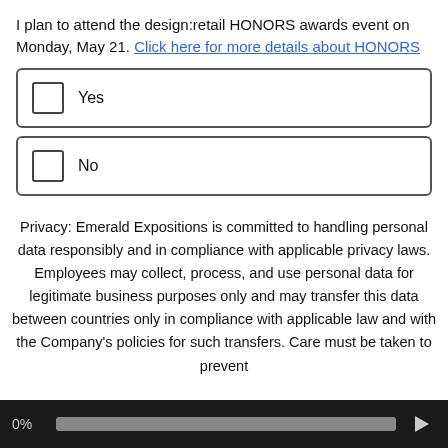I plan to attend the design:retail HONORS awards event on Monday, May 21. Click here for more details about HONORS
Yes
No
Privacy: Emerald Expositions is committed to handling personal data responsibly and in compliance with applicable privacy laws. Employees may collect, process, and use personal data for legitimate business purposes only and may transfer this data between countries only in compliance with applicable law and with the Company's policies for such transfers. Care must be taken to prevent